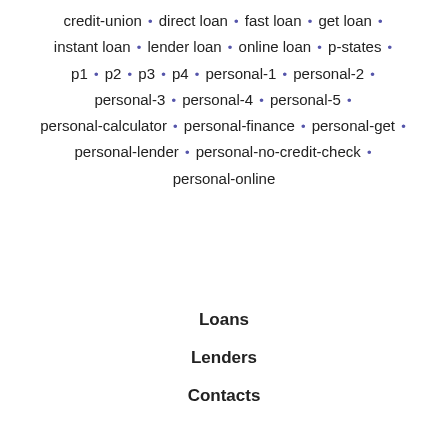credit-union · direct loan · fast loan · get loan · instant loan · lender loan · online loan · p-states · p1 · p2 · p3 · p4 · personal-1 · personal-2 · personal-3 · personal-4 · personal-5 · personal-calculator · personal-finance · personal-get · personal-lender · personal-no-credit-check · personal-online
Loans
Lenders
Contacts